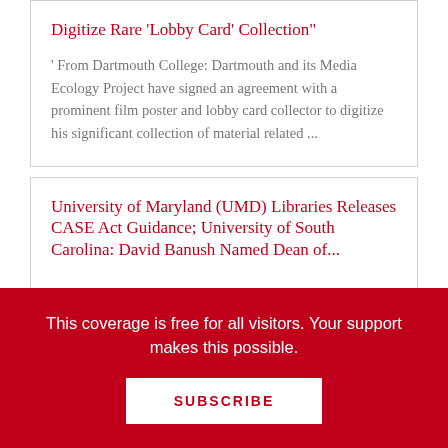Digitize Rare 'Lobby Card' Collection"
' From Dartmouth College: Dartmouth and its Media Ecology Project have signed an agreement with a prominent film poster and lobby card collector to digitize his significant collection of material related ...
University of Maryland (UMD) Libraries Releases CASE Act Guidance; University of South Carolina: David Banush Named Dean of...
This coverage is free for all visitors. Your support makes this possible.
SUBSCRIBE